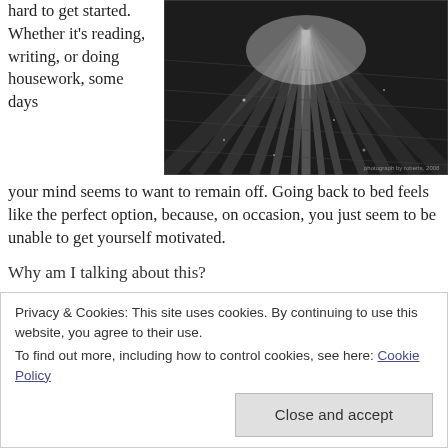hard to get started. Whether it's reading, writing, or doing housework, some days
[Figure (photo): Black and white photograph of light rays streaming through what appears to be wooden slats or forest floor, with dramatic radiating light beams]
your mind seems to want to remain off. Going back to bed feels like the perfect option, because, on occasion, you just seem to be unable to get yourself motivated.
Why am I talking about this?
Privacy & Cookies: This site uses cookies. By continuing to use this website, you agree to their use.
To find out more, including how to control cookies, see here: Cookie Policy
Close and accept